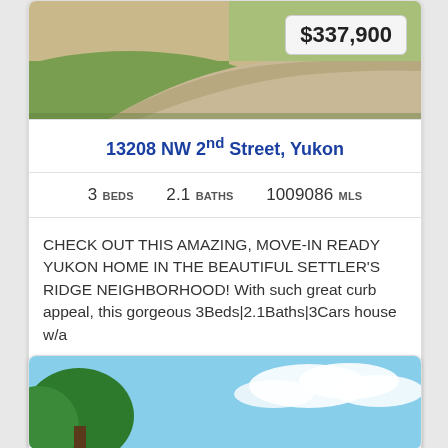[Figure (photo): Aerial or street-level photo of property showing green lawn and curved driveway with price badge $337,900]
13208 NW 2nd Street, Yukon
3 BEDS   2.1 BATHS   1009086 MLS
CHECK OUT THIS AMAZING, MOVE-IN READY YUKON HOME IN THE BEAUTIFUL SETTLER'S RIDGE NEIGHBORHOOD! With such great curb appeal, this gorgeous 3Beds|2.1Baths|3Cars house w/a ...
[Figure (logo): mlsok logo — text logo with location pin icon between 'mls' and 'k']
[Figure (photo): Photo of property showing trees against blue sky with clouds]